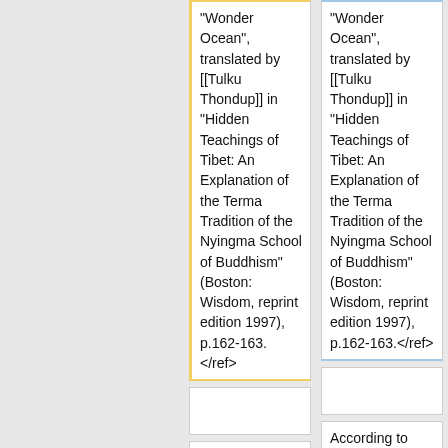"Wonder Ocean", translated by [[Tulku Thondup]] in "Hidden Teachings of Tibet: An Explanation of the Terma Tradition of the Nyingma School of Buddhism" (Boston: Wisdom, reprint edition 1997), p.162-163.</ref>
"Wonder Ocean", translated by [[Tulku Thondup]] in "Hidden Teachings of Tibet: An Explanation of the Terma Tradition of the Nyingma School of Buddhism" (Boston: Wisdom, reprint edition 1997), p.162-163.</ref>
According to [[Tulku Thondup]], "a chödak is the chief receiver and holder of a
According to [[Tulku Thondup]], "a chödak is the chief receiver and holder of a